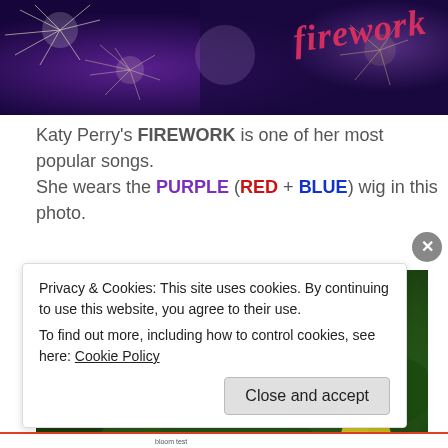[Figure (photo): Fireworks image with cursive text 'firework' in red/pink on right side, sparklers and purple/blue light effects]
Katy Perry's FIREWORK is one of her most popular songs. She wears the PURPLE (RED + BLUE) wig in this photo.
[Figure (photo): Close-up photo of yellow flowers with green buds and dark green foliage in background]
Privacy & Cookies: This site uses cookies. By continuing to use this website, you agree to their use.
To find out more, including how to control cookies, see here: Cookie Policy
Close and accept